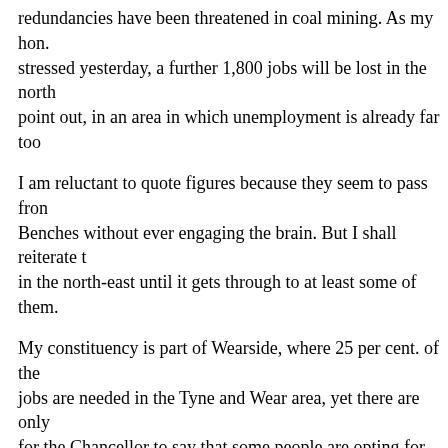redundancies have been threatened in coal mining. As my hon. Friend stressed yesterday, a further 1,800 jobs will be lost in the north-east, I point out, in an area in which unemployment is already far too high.
I am reluctant to quote figures because they seem to pass from these Benches without ever engaging the brain. But I shall reiterate the figures in the north-east until it gets through to at least some of them.
My constituency is part of Wearside, where 25 per cent. of the jobs are needed in the Tyne and Wear area, yet there are only for the Chancellor to say that some people are opting for unem from 100,000 to be left with 98,000 people in my area who cou constituency, more than 40 per cent. of the unemployed are un convinced that either Conservative Members do not understand the reason, they are guilty of neglecting the area I represent.
When preparing a grand tour during the election campaign, the She found 16 hours, eight hours each way, to fly to America, b hour or two in my part of the world to try to begin to understand out means to the folk who live there.
We have heard today that the only hope is the youth training s